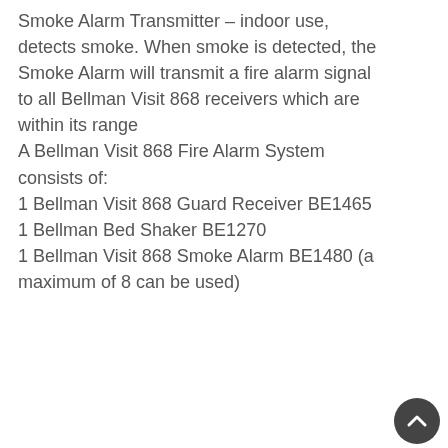Smoke Alarm Transmitter – indoor use, detects smoke. When smoke is detected, the Smoke Alarm will transmit a fire alarm signal to all Bellman Visit 868 receivers which are within its range
A Bellman Visit 868 Fire Alarm System consists of:
1 Bellman Visit 868 Guard Receiver BE1465
1 Bellman Bed Shaker BE1270
1 Bellman Visit 868 Smoke Alarm BE1480 (a maximum of 8 can be used)
[Figure (screenshot): A large glossy blue rounded-rectangle button labeled PRODUCTS in bold white text, with a accessibility toolbar panel on the right side showing contrast and text-size icons, and a dark circular back-to-top arrow button at bottom right.]